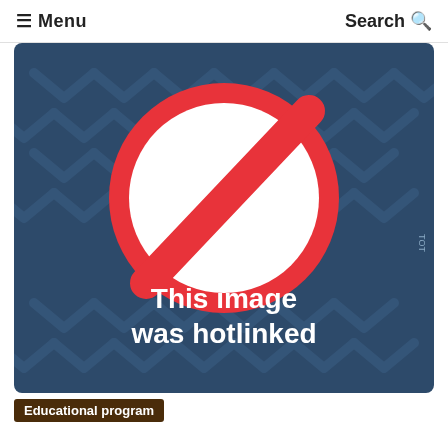≡ Menu    Search Q
[Figure (illustration): A hotlinked image placeholder showing a red prohibition/no symbol (circle with diagonal line) on a dark blue background with a geometric arrow pattern. White text reads 'This image was hotlinked'.]
Educational program